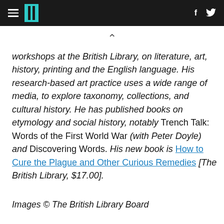HuffPost navigation with hamburger menu, logo, and social icons (f, Twitter bird)
workshops at the British Library, on literature, art, history, printing and the English language. His research-based art practice uses a wide range of media, to explore taxonomy, collections, and cultural history. He has published books on etymology and social history, notably Trench Talk: Words of the First World War (with Peter Doyle) and Discovering Words. His new book is How to Cure the Plague and Other Curious Remedies [The British Library, $17.00].
Images © The British Library Board